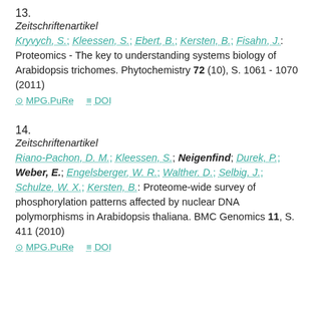13.
Zeitschriftenartikel
Kryvych, S.; Kleessen, S.; Ebert, B.; Kersten, B.; Fisahn, J.: Proteomics - The key to understanding systems biology of Arabidopsis trichomes. Phytochemistry 72 (10), S. 1061 - 1070 (2011)
MPG.PuRe   DOI
14.
Zeitschriftenartikel
Riano-Pachon, D. M.; Kleessen, S.; Neigenfind; Durek, P.; Weber, E.; Engelsberger, W. R.; Walther, D.; Selbig, J.; Schulze, W. X.; Kersten, B.: Proteome-wide survey of phosphorylation patterns affected by nuclear DNA polymorphisms in Arabidopsis thaliana. BMC Genomics 11, S. 411 (2010)
MPG.PuRe   DOI